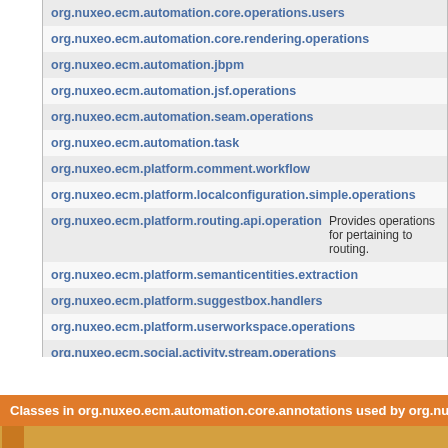| Package | Description |
| --- | --- |
| org.nuxeo.ecm.automation.core.operations.users |  |
| org.nuxeo.ecm.automation.core.rendering.operations |  |
| org.nuxeo.ecm.automation.jbpm |  |
| org.nuxeo.ecm.automation.jsf.operations |  |
| org.nuxeo.ecm.automation.seam.operations |  |
| org.nuxeo.ecm.automation.task |  |
| org.nuxeo.ecm.platform.comment.workflow |  |
| org.nuxeo.ecm.platform.localconfiguration.simple.operations |  |
| org.nuxeo.ecm.platform.routing.api.operation | Provides operations for pertaining to routing. |
| org.nuxeo.ecm.platform.semanticentities.extraction |  |
| org.nuxeo.ecm.platform.suggestbox.handlers |  |
| org.nuxeo.ecm.platform.userworkspace.operations |  |
| org.nuxeo.ecm.social.activity.stream.operations |  |
| org.nuxeo.ecm.social.mini.message.operations |  |
| org.nuxeo.ecm.social.workspace.gadgets |  |
Classes in org.nuxeo.ecm.automation.core.annotations used by org.nuxeo...